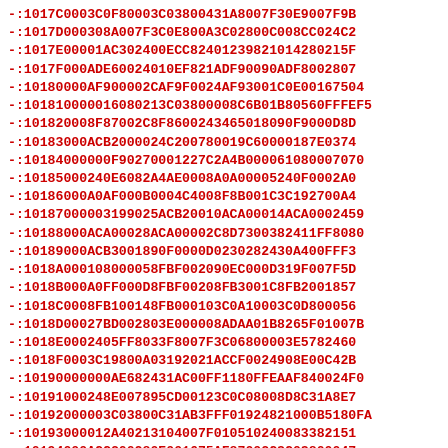-:1017C0003C0F80003C03800431A8007F30E9007F9B
-:1017D000308A007F3C0E800A3C02800C008CC024C2
-:1017E00001AC302400ECC8240123982101428021 5F
-:1017F000ADE60024010EF821ADF90090ADF8002807
-:10180000AF900002CAF9F0024AF93001C0E00167504
-:101810000016080213C03800008C6B01B80560FFFEF5
-:101820008F87002C8F86002434650180 90F9000D8D
-:10183000ACB2000024C200780019C60000187E0374
-:10184000000F90270001227C2A4B00006108000707D
-:10185000240E6082A4AE0008A0A00005240F0002A0
-:10186000A0AF000B0004C4008F8B001C3C192700A4
-:10187000003199025ACB20010ACA00014ACA0002459
-:10188000ACA00028ACA00002C8D7300382411FF8080
-:10189000ACB3001890F0000D0230282430A400FFF3
-:1018A000108000058FBF002090EC000D319F007F5D
-:1018B000A0FF000D8FBF00208FB3001C8FB2001857
-:1018C0008FB100148FB000103C0A10003C0D800056
-:1018D00027BD002803E000008ADAA01B8265F01007B
-:1018E0002405FF8033F8007F3C06800003E5782460
-:1018F0003C19800A03192021ACCF0024908E00C42B
-:10190000000AE682431AC00FF1180FFEAAF840024F0
-:10191000248E007895CD00123C0C08008D8C31A8E7
-:10192000003C03800C31AB3FFF01924821000B5180FA
-:10193000012A40213104007F010510240083382151
-:10194000ACC200280E001675AF87002C3C03800047
-:10195000008C6501B804A0FFFE00000000AE1200007C
-:10196000008C720144AE120004A6110008241100027A
-:10197000A211000BAE1300240A001DD88FBF002057
-:10198000003C1260008E452C083C03F0033462FFFFDC
-:101990000000A2F824AE5F2C088E582C083C1901B028